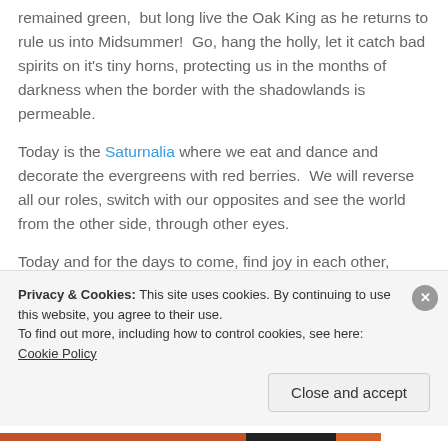remained green, but long live the Oak King as he returns to rule us into Midsummer! Go, hang the holly, let it catch bad spirits on it's tiny horns, protecting us in the months of darkness when the border with the shadowlands is permeable.
Today is the Saturnalia where we eat and dance and decorate the evergreens with red berries. We will reverse all our roles, switch with our opposites and see the world from the other side, through other eyes.
Today and for the days to come, find joy in each other,
Privacy & Cookies: This site uses cookies. By continuing to use this website, you agree to their use.
To find out more, including how to control cookies, see here: Cookie Policy